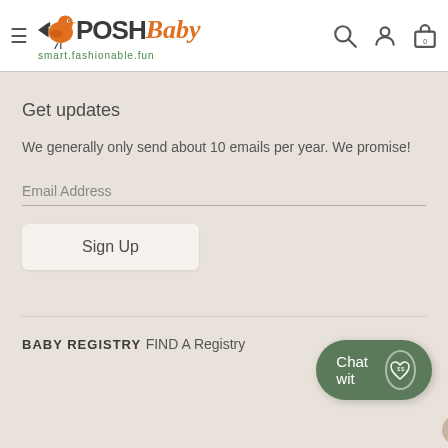POSH Baby — smart.fashionable.fun navigation header with hamburger menu, logo, search, account, and cart icons
Get updates
We generally only send about 10 emails per year. We promise!
Email Address
Sign Up
BABY REGISTRY
FIND A Registry
Chat wit